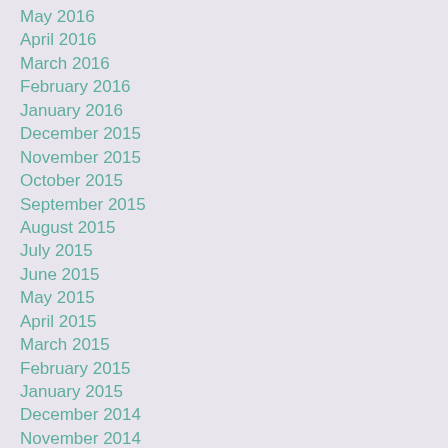May 2016
April 2016
March 2016
February 2016
January 2016
December 2015
November 2015
October 2015
September 2015
August 2015
July 2015
June 2015
May 2015
April 2015
March 2015
February 2015
January 2015
December 2014
November 2014
October 2014
September 2014
August 2014
July 2014